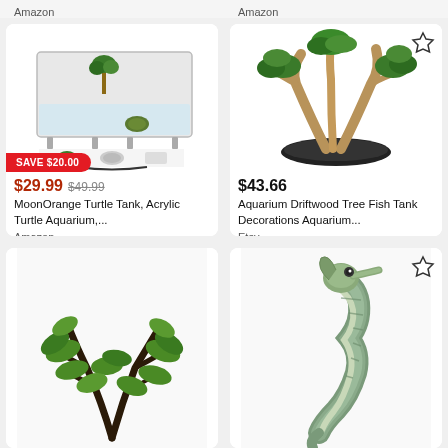Amazon
Amazon
[Figure (photo): Acrylic turtle aquarium tank with small palm trees inside, shown with accessories. Has a red badge: SAVE $20.00]
$29.99  $49.99
MoonOrange Turtle Tank, Acrylic Turtle Aquarium,...
Amazon
[Figure (photo): Aquarium driftwood tree decoration with green leaves on top and bare branches, on black gravel base. Star icon in top right.]
$43.66
Aquarium Driftwood Tree Fish Tank Decorations Aquarium...
Etsy
[Figure (photo): Aquarium plant decoration with dark branches and green leaves]
[Figure (photo): Aquarium seahorse decoration figurine with green/blue coloring. Star icon in top right.]